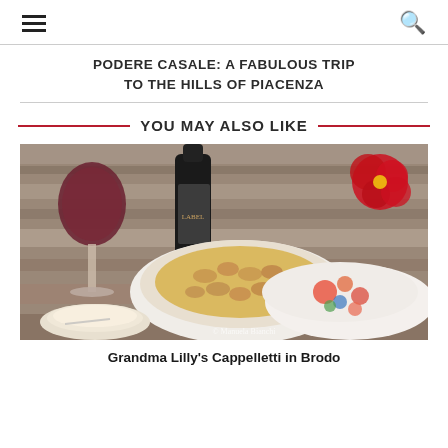☰  🔍
PODERE CASALE: A FABULOUS TRIP TO THE HILLS OF PIACENZA
YOU MAY ALSO LIKE
[Figure (photo): A bowl of Cappelletti pasta in brodo (broth), with a glass of red wine, a bottle of wine, a small bowl of grated Parmesan, a floral-lidded serving dish, and red poinsettia flowers in the background on a wooden surface. Watermark: © Manuela Bianchi]
Grandma Lilly's Cappelletti in Brodo